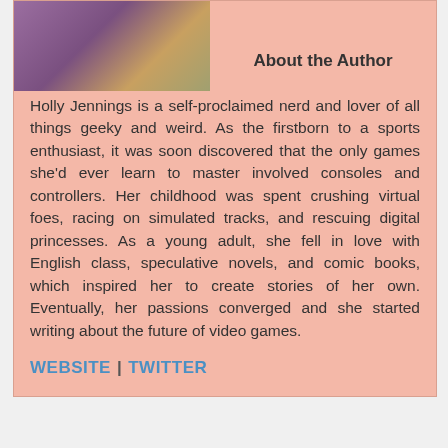[Figure (photo): Author photo of Holly Jennings, a woman with dark hair wearing a purple top]
About the Author
Holly Jennings is a self-proclaimed nerd and lover of all things geeky and weird. As the firstborn to a sports enthusiast, it was soon discovered that the only games she'd ever learn to master involved consoles and controllers. Her childhood was spent crushing virtual foes, racing on simulated tracks, and rescuing digital princesses. As a young adult, she fell in love with English class, speculative novels, and comic books, which inspired her to create stories of her own. Eventually, her passions converged and she started writing about the future of video games.
WEBSITE | TWITTER